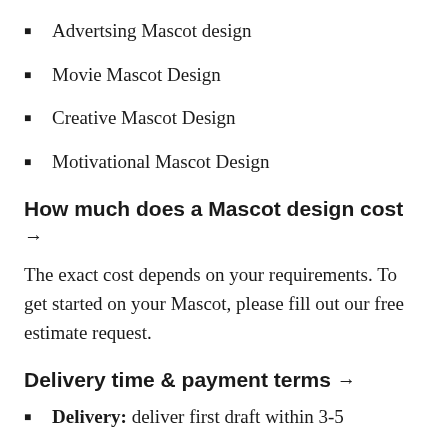Advertsing Mascot design
Movie Mascot Design
Creative Mascot Design
Motivational Mascot Design
How much does a Mascot design cost →
The exact cost depends on your requirements. To get started on your Mascot, please fill out our free estimate request.
Delivery time & payment terms →
Delivery: deliver first draft within 3-5